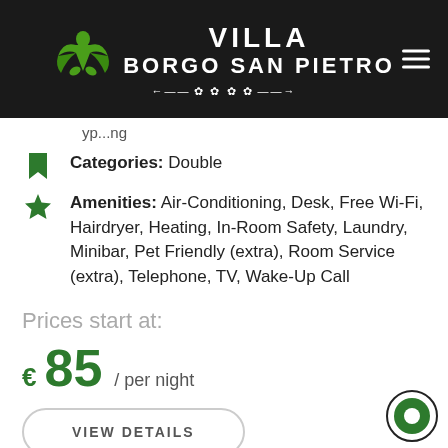[Figure (logo): Villa Borgo San Pietro hotel logo with green angel figure and decorative stars, white text on dark background header]
yp...ng
Categories: Double
Amenities: Air-Conditioning, Desk, Free Wi-Fi, Hairdryer, Heating, In-Room Safety, Laundry, Minibar, Pet Friendly (extra), Room Service (extra), Telephone, TV, Wake-Up Call
Prices start at:
€85 / per night
VIEW DETAILS